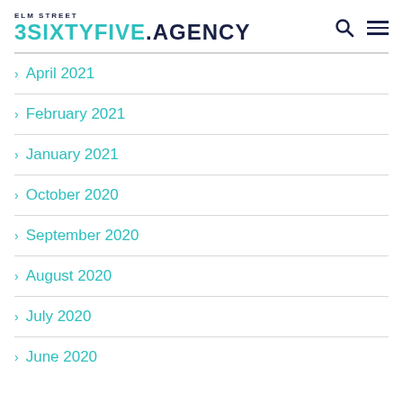ELM STREET 3SIXTYFIVE.AGENCY
April 2021
February 2021
January 2021
October 2020
September 2020
August 2020
July 2020
June 2020